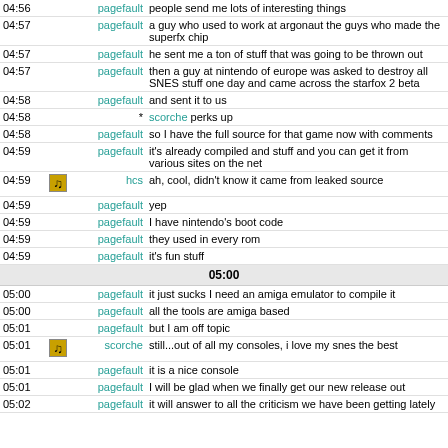| Time | Icon | Nick | Message |
| --- | --- | --- | --- |
| 04:56 |  | pagefault | people send me lots of interesting things |
| 04:57 |  | pagefault | a guy who used to work at argonaut the guys who made the superfx chip |
| 04:57 |  | pagefault | he sent me a ton of stuff that was going to be thrown out |
| 04:57 |  | pagefault | then a guy at nintendo of europe was asked to destroy all SNES stuff one day and came across the starfox 2 beta |
| 04:58 |  | pagefault | and sent it to us |
| 04:58 |  | * | scorche perks up |
| 04:58 |  | pagefault | so I have the full source for that game now with comments |
| 04:59 |  | pagefault | it's already compiled and stuff and you can get it from various sites on the net |
| 04:59 | [icon] | hcs | ah, cool, didn't know it came from leaked source |
| 04:59 |  | pagefault | yep |
| 04:59 |  | pagefault | I have nintendo's boot code |
| 04:59 |  | pagefault | they used in every rom |
| 04:59 |  | pagefault | it's fun stuff |
| 05:00 |  | --- separator --- |  |
| 05:00 |  | pagefault | it just sucks I need an amiga emulator to compile it |
| 05:00 |  | pagefault | all the tools are amiga based |
| 05:01 |  | pagefault | but I am off topic |
| 05:01 | [icon] | scorche | still...out of all my consoles, i love my snes the best |
| 05:01 |  | pagefault | it is a nice console |
| 05:01 |  | pagefault | I will be glad when we finally get our new release out |
| 05:02 |  | pagefault | it will answer to all the criticism we have been getting lately |